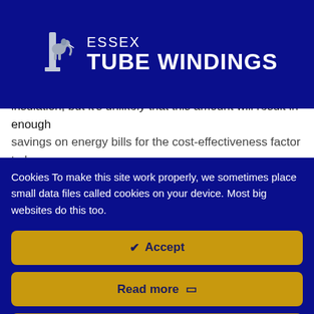[Figure (logo): Essex Tube Windings logo with elephant and tube graphic, white text on dark navy background]
insulation, but it's unlikely that this amount will result in enough savings on energy bills for the cost-effectiveness factor to be
Cookies To make this site work properly, we sometimes place small data files called cookies on your device. Most big websites do this too.
✔ Accept
Read more 🗐
Change Settings ⚙